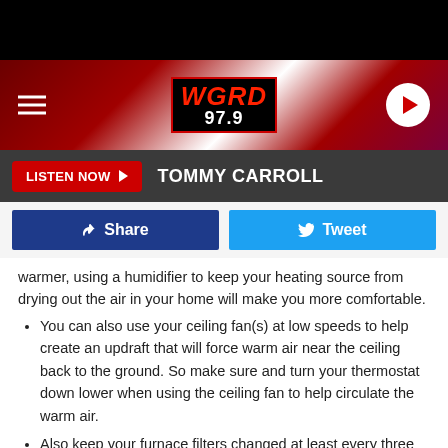[Figure (screenshot): Black top bar of mobile app]
[Figure (logo): WGRD 97.9 radio station header banner with hamburger menu, logo, and play button]
[Figure (screenshot): Listen Now bar with Tommy Carroll label]
[Figure (screenshot): Social share bar with Facebook Share and Tweet buttons]
warmer, using a humidifier to keep your heating source from drying out the air in your home will make you more comfortable.
You can also use your ceiling fan(s) at low speeds to help create an updraft that will force warm air near the ceiling back to the ground. So make sure and turn your thermostat down lower when using the ceiling fan to help circulate the warm air.
Also keep your furnace filters changed at least every three months.Since filters lower the amount of dust and dirt that can enter your ductwork then your home,